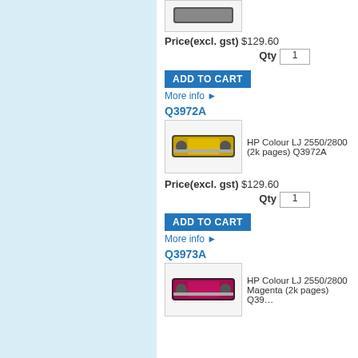[Figure (photo): Toner cartridge product image (top, partially cropped)]
Price(excl. gst) $129.60
Qty 1
ADD TO CART
More info ►
Q3972A
[Figure (photo): HP Colour LJ 2550/2800 yellow toner cartridge Q3972A]
HP Colour LJ 2550/2800 (2k pages) Q3972A
Price(excl. gst) $129.60
Qty 1
ADD TO CART
More info ►
Q3973A
[Figure (photo): HP Colour LJ 2550/2800 Magenta toner cartridge Q3973A]
HP Colour LJ 2550/2800 Magenta (2k pages) Q39…